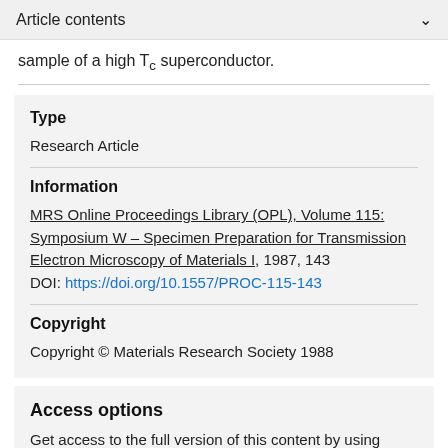Article contents
sample of a high Tc superconductor.
Type
Research Article
Information
MRS Online Proceedings Library (OPL), Volume 115: Symposium W – Specimen Preparation for Transmission Electron Microscopy of Materials I, 1987, 143
DOI: https://doi.org/10.1557/PROC-115-143
Copyright
Copyright © Materials Research Society 1988
Access options
Get access to the full version of this content by using